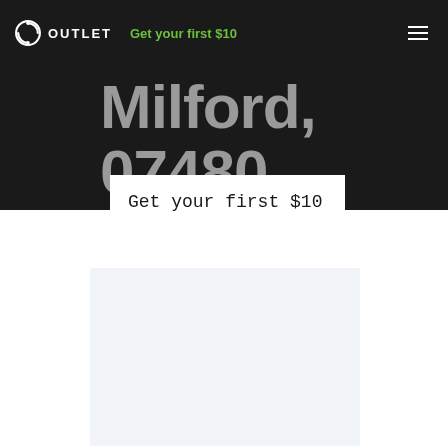OUTLET — Get your first $10
Milford, 07480.
Get your first $10
[Figure (other): Light blue-gray rectangular content card placeholder]